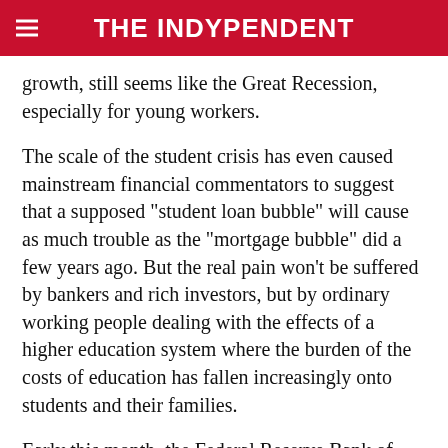THE INDYPENDENT
growth, still seems like the Great Recession, especially for young workers.
The scale of the student crisis has even caused mainstream financial commentators to suggest that a supposed "student loan bubble" will cause as much trouble as the "mortgage bubble" did a few years ago. But the real pain won't be suffered by bankers and rich investors, but by ordinary working people dealing with the effects of a higher education system where the burden of the costs of education has fallen increasingly onto students and their families.
Early this month, the Federal Reserve Bank of New York released a report titled "Grading Student Loans," which analyzed the student debt crisis in the U.S.